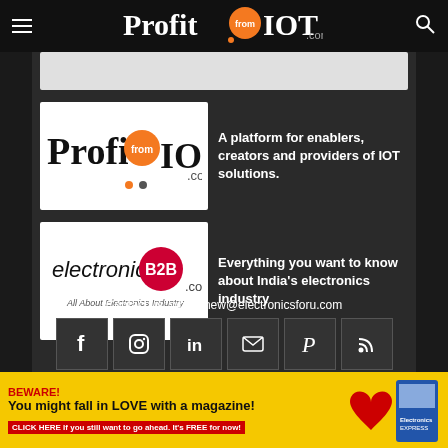ProfitfromIOT.com
[Figure (logo): ProfitfromIOT.com logo with orange globe icon]
A platform for enablers, creators and providers of IOT solutions.
[Figure (logo): electronicsB2B.com logo - All About Electronics Industry]
Everything you want to know about India's electronics industry
Contact us: whatisnew@electronicsforu.com
[Figure (infographic): Social media icons row: Facebook, Instagram, LinkedIn, Email, Pinterest, RSS]
[Figure (infographic): Advertisement banner: BEWARE! You might fall in LOVE with a magazine! CLICK HERE if you still want to go ahead. It's FREE for now! with red heart and Electronics Express magazine image]